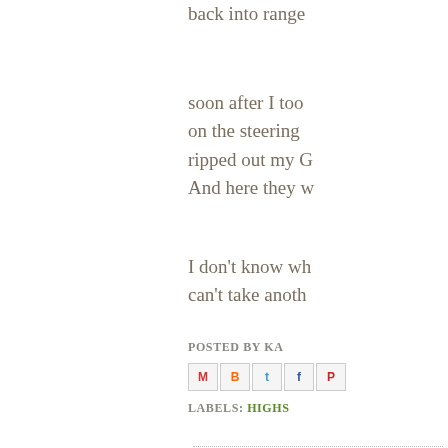back into range
soon after I too on the steering ripped out my G And here they w
I don't know wh can't take anoth
POSTED BY KA
[Figure (infographic): Social sharing icons: Gmail, Blogger, Twitter, Facebook, Pinterest]
LABELS: HIGHS
Tuesday, January
Swagles
I had intended